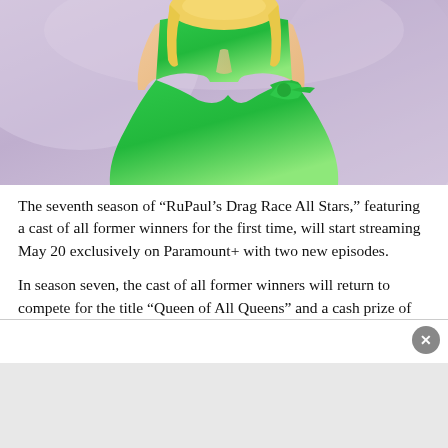[Figure (photo): A person wearing a bright green flowing dress with a bow detail, with blonde hair, photographed against a lavender/purple abstract background. The image is cropped showing the torso and lower body.]
The seventh season of “RuPaul’s Drag Race All Stars,” featuring a cast of all former winners for the first time, will start streaming May 20 exclusively on Paramount+ with two new episodes.
In season seven, the cast of all former winners will return to compete for the title “Queen of All Queens” and a cash prize of $200,000.
Internationally, the season will air on Paramount+